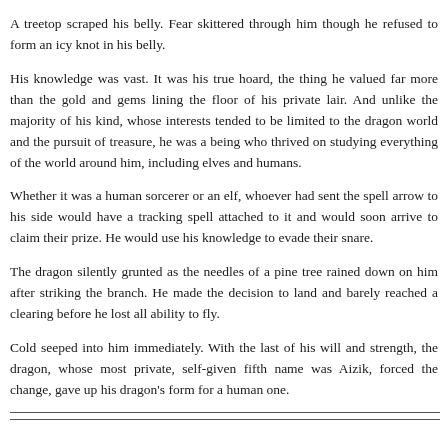A treetop scraped his belly. Fear skittered through him though he refused to form an icy knot in his belly.
His knowledge was vast. It was his true hoard, the thing he valued far more than the gold and gems lining the floor of his private lair. And unlike the majority of his kind, whose interests tended to be limited to the dragon world and the pursuit of treasure, he was a being who thrived on studying everything of the world around him, including elves and humans.
Whether it was a human sorcerer or an elf, whoever had sent the spell arrow to his side would have a tracking spell attached to it and would soon arrive to claim their prize. He would use his knowledge to evade their snare.
The dragon silently grunted as the needles of a pine tree rained down on him after striking the branch. He made the decision to land and barely reached a clearing before he lost all ability to fly.
Cold seeped into him immediately. With the last of his will and strength, the dragon, whose most private, self-given fifth name was Aizik, forced the change, gave up his dragon's form for a human one.